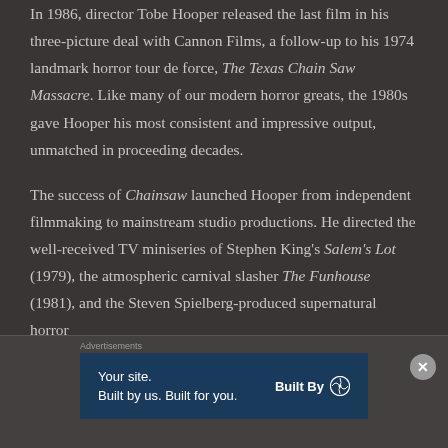In 1986, director Tobe Hooper released the last film in his three-picture deal with Cannon Films, a follow-up to his 1974 landmark horror tour de force, The Texas Chain Saw Massacre. Like many of our modern horror greats, the 1980s gave Hooper his most consistent and impressive output, unmatched in proceeding decades.

The success of Chainsaw launched Hooper from independent filmmaking to mainstream studio productions. He directed the well-received TV miniseries of Stephen King's Salem's Lot (1979), the atmospheric carnival slasher The Funhouse (1981), and the Steven Spielberg-produced supernatural horror
Advertisements
[Figure (other): WordPress advertisement banner: 'Your site. Built by us. Built for you.' with 'Built By' WordPress logo]